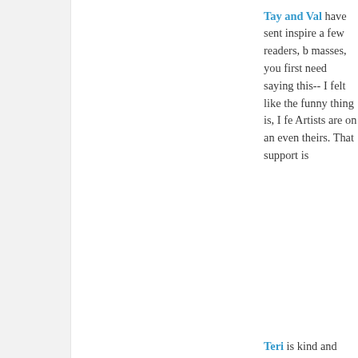Tay and Val have sent inspire a few readers, b masses, you first need saying this-- I felt like the funny thing is, I fe Artists are on an even theirs. That support is
Teri is kind and suppo she retweets my artic